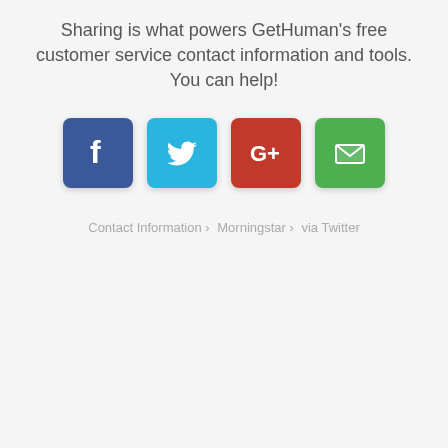Sharing is what powers GetHuman's free customer service contact information and tools. You can help!
[Figure (infographic): Four social sharing buttons: Facebook (blue), Twitter (light blue), Google+ (red), Email (green)]
Contact Information › Morningstar › via Twitter